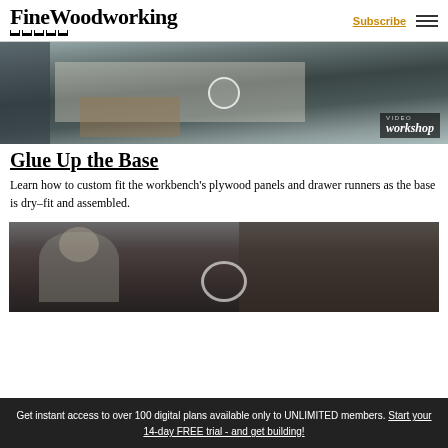FineWoodworking | Subscribe
[Figure (photo): Workshop scene showing woodworking bench assembly with clamps and panels, with VIDEO workshop badge in bottom right corner]
Glue Up the Base
Learn how to custom fit the workbench's plywood panels and drawer runners as the base is dry-fit and assembled.
[Figure (photo): Close-up of a craftsman with gray hair and glasses working on a lathe or woodworking tool in a workshop with tools and supplies on shelves in the background]
Get instant access to over 100 digital plans available only to UNLIMITED members. Start your 14-day FREE trial - and get building!